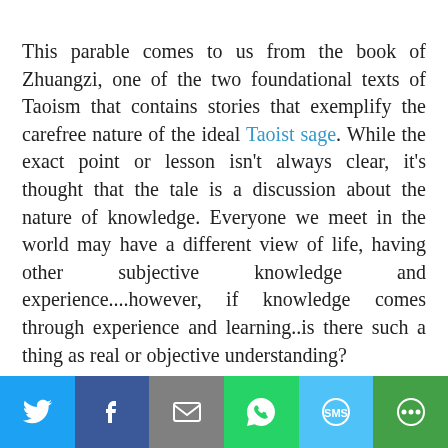This parable comes to us from the book of Zhuangzi, one of the two foundational texts of Taoism that contains stories that exemplify the carefree nature of the ideal Taoist sage. While the exact point or lesson isn't always clear, it's thought that the tale is a discussion about the nature of knowledge. Everyone we meet in the world may have a different view of life, having other subjective knowledge and experience....however, if knowledge comes through experience and learning..is there such a thing as real or objective understanding?

The point seems to be that "knowing" a thing is
[Figure (infographic): Social sharing bar with six buttons: Twitter (blue), Facebook (dark blue), Email (gray), WhatsApp (green), SMS (light blue), More (dark green)]